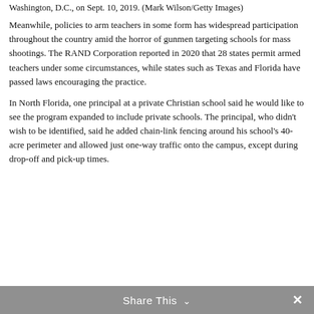Washington, D.C., on Sept. 10, 2019. (Mark Wilson/Getty Images)
Meanwhile, policies to arm teachers in some form has widespread participation throughout the country amid the horror of gunmen targeting schools for mass shootings. The RAND Corporation reported in 2020 that 28 states permit armed teachers under some circumstances, while states such as Texas and Florida have passed laws encouraging the practice.
In North Florida, one principal at a private Christian school said he would like to see the program expanded to include private schools. The principal, who didn't wish to be identified, said he added chain-link fencing around his school's 40-acre perimeter and allowed just one-way traffic onto the campus, except during drop-off and pick-up times.
Share This ∨   ✕